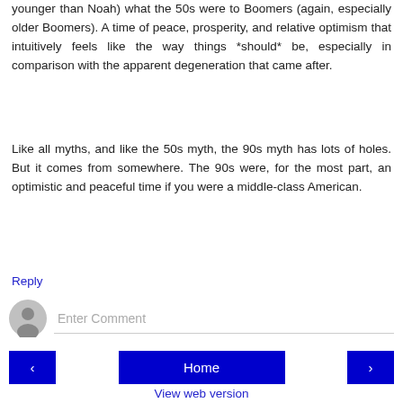younger than Noah) what the 50s were to Boomers (again, especially older Boomers). A time of peace, prosperity, and relative optimism that intuitively feels like the way things *should* be, especially in comparison with the apparent degeneration that came after.
Like all myths, and like the 50s myth, the 90s myth has lots of holes. But it comes from somewhere. The 90s were, for the most part, an optimistic and peaceful time if you were a middle-class American.
Reply
[Figure (other): Comment input area with user avatar (grey circle with silhouette) and placeholder text 'Enter Comment' with underline border]
[Figure (other): Navigation buttons: left arrow button (blue), Home button (blue, center), right arrow button (blue)]
View web version